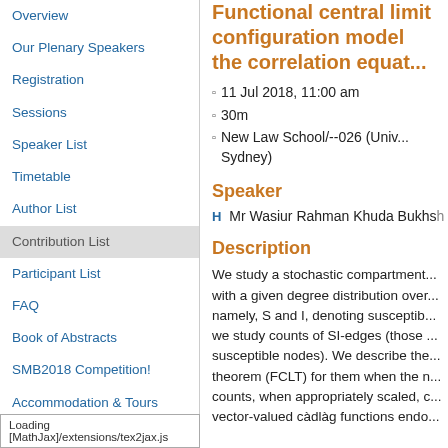Overview
Our Plenary Speakers
Registration
Sessions
Speaker List
Timetable
Author List
Contribution List
Participant List
FAQ
Book of Abstracts
SMB2018 Competition!
Accommodation & Tours
Contact SMB2018
Functional central limit theorems for the configuration model and related results on the correlation equation
11 Jul 2018, 11:00 am
30m
New Law School/--026 (University of Sydney)
Speaker
H Mr Wasiur Rahman Khuda Bukhsh
Description
We study a stochastic compartmental model with a given degree distribution over a network, namely, S and I, denoting susceptible and infected, we study counts of SI-edges (those connecting susceptible nodes). We describe the functional central limit theorem (FCLT) for them when the network size, counts, when appropriately scaled, converge to vector-valued càdlàg functions endo...
Loading [MathJax]/extensions/tex2jax.js